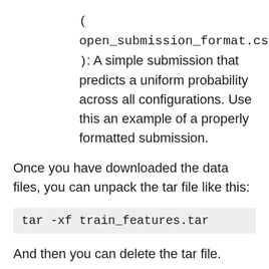( open_submission_format.csv ): A simple submission that predicts a uniform probability across all configurations. Use this an example of a properly formatted submission.
Once you have downloaded the data files, you can unpack the tar file like this:
tar -xf train_features.tar
And then you can delete the tar file.
Make sure that the following path leads to the data files you downloaded. If the